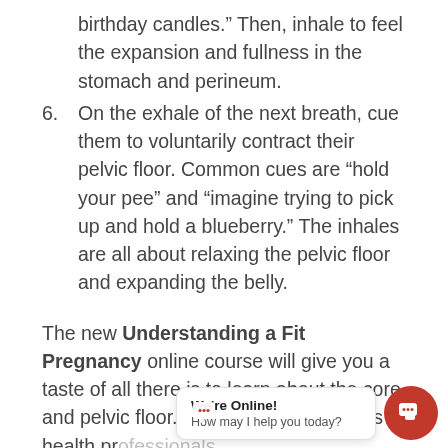birthday candles.” Then, inhale to feel the expansion and fullness in the stomach and perineum.
6. On the exhale of the next breath, cue them to voluntarily contract their pelvic floor. Common cues are “hold your pee” and “imagine trying to pick up and hold a blueberry.” The inhales are all about relaxing the pelvic floor and expanding the belly.
The new Understanding a Fit Pregnancy online course will give you a taste of all there is to learn about the core and pelvic floor. A collective of women’s health pr[ofessionals] [who] rat[ed] bring you an exciti[ng] [learning experience] ea[ch] down a path to expand your awareness